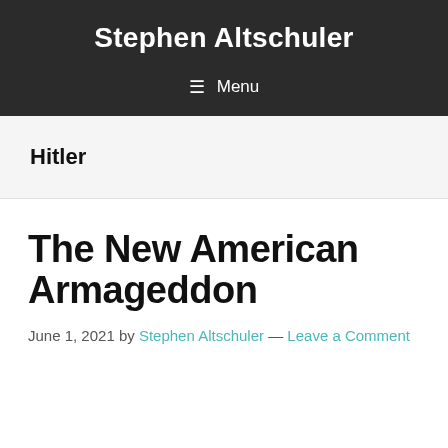Stephen Altschuler
≡ Menu
Hitler
The New American Armageddon
June 1, 2021 by Stephen Altschuler — Leave a Comment